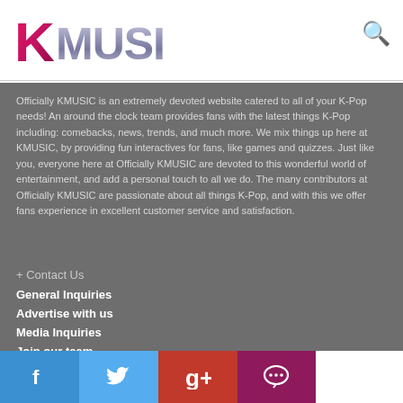[Figure (logo): KMUSIC logo with pink/magenta K and metallic silver MUSIC text]
Officially KMUSIC is an extremely devoted website catered to all of your K-Pop needs! An around the clock team provides fans with the latest things K-Pop including: comebacks, news, trends, and much more. We mix things up here at KMUSIC, by providing fun interactives for fans, like games and quizzes. Just like you, everyone here at Officially KMUSIC are devoted to this wonderful world of entertainment, and add a personal touch to all we do. The many contributors at Officially KMUSIC are passionate about all things K-Pop, and with this we offer fans experience in excellent customer service and satisfaction.
+ Contact Us
General Inquiries
Advertise with us
Media Inquiries
Join our team
+ More Information